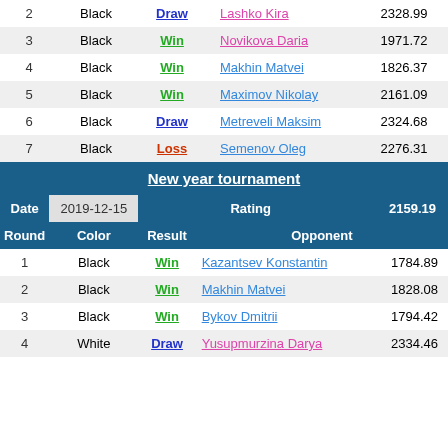| Round | Color | Result | Opponent | Rating |
| --- | --- | --- | --- | --- |
| 2 | Black | Draw | Lashko Kira | 2328.99 |
| 3 | Black | Win | Novikova Daria | 1971.72 |
| 4 | Black | Win | Makhin Matvei | 1826.37 |
| 5 | Black | Win | Maximov Nikolay | 2161.09 |
| 6 | Black | Draw | Metreveli Maksim | 2324.68 |
| 7 | Black | Loss | Semenov Oleg | 2276.31 |
New year tournament
| Date | 2019-12-15 | Rating | 2159.19 | Round | Color | Result | Opponent |
| --- | --- | --- | --- | --- | --- | --- | --- |
| 1 | Black | Win | Kazantsev Konstantin | 1784.89 |
| 2 | Black | Win | Makhin Matvei | 1828.08 |
| 3 | Black | Win | Bykov Dmitrii | 1794.42 |
| 4 | White | Draw | Yusupmurzina Darya | 2334.46 |